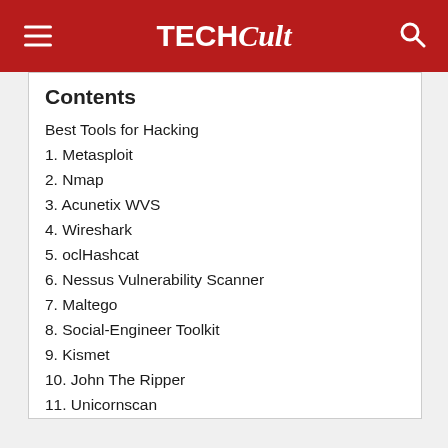TECHCult
Contents
Best Tools for Hacking
1. Metasploit
2. Nmap
3. Acunetix WVS
4. Wireshark
5. oclHashcat
6. Nessus Vulnerability Scanner
7. Maltego
8. Social-Engineer Toolkit
9. Kismet
10. John The Ripper
11. Unicornscan